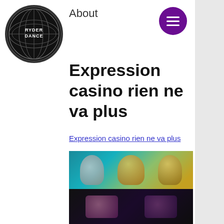[Figure (logo): RyderDance circular logo with globe/network pattern on black background]
About
Expression casino rien ne va plus
Expression casino rien ne va plus
[Figure (screenshot): Blurred screenshot of a casino or gaming interface showing colorful character icons and game tiles on dark background]